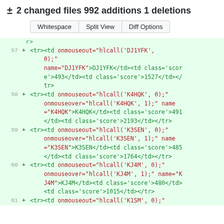± 2 changed files 992 additions 1 deletions
Whitespace  Split View  Diff Options
r>
57 + <tr><td onmouseout="hlcall('DJ1YFK', 0);" onmouseover="hlcall('DJ1YFK', 1);" name="DJ1YFK">DJ1YFK</td><td class='score'>493</td><td class='score'>1527</td></tr>
58 + <tr><td onmouseout="hlcall('K4HQK', 0);" onmouseover="hlcall('K4HQK', 1);" name="K4HQK">K4HQK</td><td class='score'>491</td><td class='score'>2193</td></tr>
59 + <tr><td onmouseout="hlcall('K3SEN', 0);" onmouseover="hlcall('K3SEN', 1);" name="K3SEN">K3SEN</td><td class='score'>485</td><td class='score'>1764</td></tr>
60 + <tr><td onmouseout="hlcall('KJ4M', 0);" onmouseover="hlcall('KJ4M', 1);" name="KJ4M">KJ4M</td><td class='score'>480</td><td class='score'>1015</td></tr>
61 + <tr><td onmouseout="hlcall('K1SM', 0);"